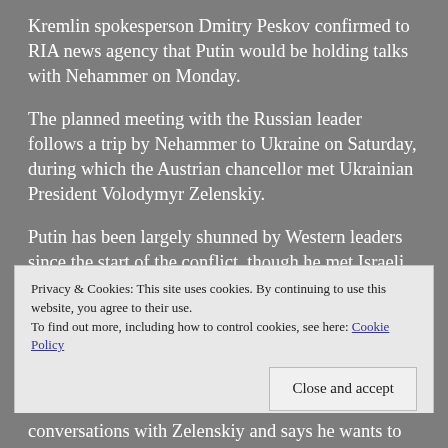Kremlin spokesperson Dmitry Peskov confirmed to RIA news agency that Putin would be holding talks with Nehammer on Monday.
The planned meeting with the Russian leader follows a trip by Nehammer to Ukraine on Saturday, during which the Austrian chancellor met Ukrainian President Volodymyr Zelenskiy.
Putin has been largely shunned by Western leaders since the start of the conflict, though he met Israeli Prime Minister Naftali Bennett in the Kremlin in early March.
Privacy & Cookies: This site uses cookies. By continuing to use this website, you agree to their use. To find out more, including how to control cookies, see here: Cookie Policy
Close and accept
conversations with Zelenskiy and says he wants to